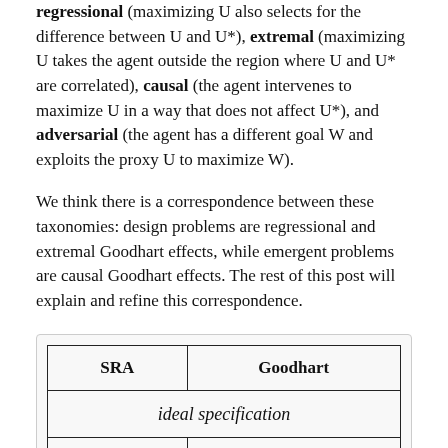regressional (maximizing U also selects for the difference between U and U*), extremal (maximizing U takes the agent outside the region where U and U* are correlated), causal (the agent intervenes to maximize U in a way that does not affect U*), and adversarial (the agent has a different goal W and exploits the proxy U to maximize W).
We think there is a correspondence between these taxonomies: design problems are regressional and extremal Goodhart effects, while emergent problems are causal Goodhart effects. The rest of this post will explain and refine this correspondence.
| SRA | Goodhart |
| --- | --- |
| ideal specification |  |
| Design | Regressional |